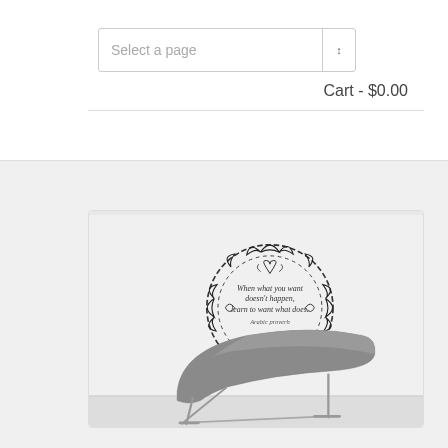Select a page | Cart - $0.00
[Figure (photo): Wall sticker product photo showing an Arabic proverb decorative sticker with a braided circular laurel wreath border and a modern grey lounge chair underneath. The sticker text reads: When what you want doesn't happen, learn to want what does. Arabic proverb]
Wall Stickers Arabic Proverb
$22.54–$62.79 • $18.03–$50.23
Sale!